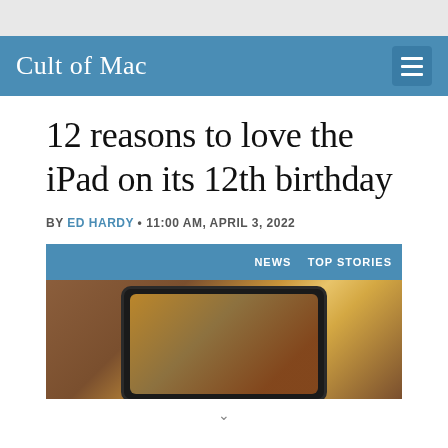Cult of Mac
12 reasons to love the iPad on its 12th birthday
BY ED HARDY • 11:00 AM, APRIL 3, 2022
[Figure (photo): Screenshot of a Cult of Mac article page with blue navigation bar showing NEWS and TOP STORIES tags, and a photo of an iPad on a brown leather surface with blurred warm bokeh lights in the background.]